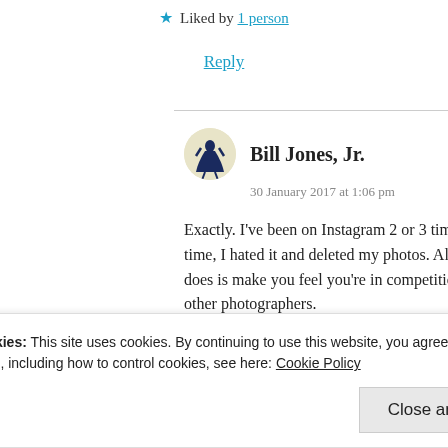★ Liked by 1 person
Reply
Bill Jones, Jr.
30 January 2017 at 1:06 pm
Exactly. I've been on Instagram 2 or 3 times. Each time, I hated it and deleted my photos. All it really does is make you feel you're in competition with other photographers.
Privacy & Cookies: This site uses cookies. By continuing to use this website, you agree to their use. To find out more, including how to control cookies, see here: Cookie Policy
Close and accept